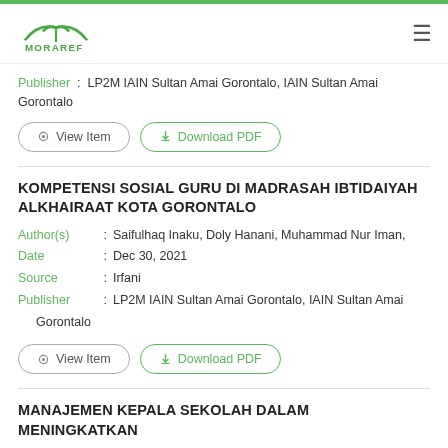MORAREF
Publisher : LP2M IAIN Sultan Amai Gorontalo, IAIN Sultan Amai Gorontalo
View Item | Download PDF
KOMPETENSI SOSIAL GURU DI MADRASAH IBTIDAIYAH ALKHAIRAAT KOTA GORONTALO
Author(s) : Saifulhaq Inaku, Doly Hanani, Muhammad Nur Iman,
Date : Dec 30, 2021
Source : Irfani
Publisher : LP2M IAIN Sultan Amai Gorontalo, IAIN Sultan Amai Gorontalo
View Item | Download PDF
MANAJEMEN KEPALA SEKOLAH DALAM MENINGKATKAN